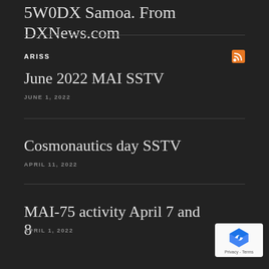5W0DX Samoa. From DXNews.com
ARISS
June 2022 MAI SSTV
JUNE 1, 2022
Cosmonautics day SSTV
APRIL 11, 2022
MAI-75 activity April 7 and 8
APRIL 1, 2022